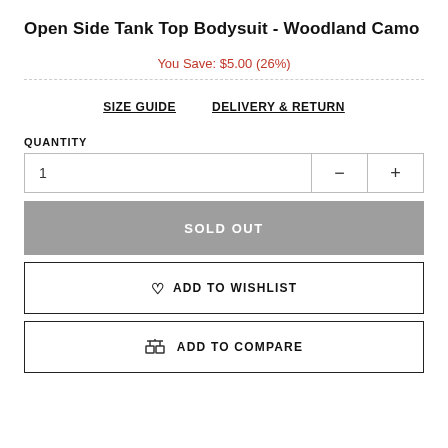Open Side Tank Top Bodysuit - Woodland Camo
You Save: $5.00 (26%)
SIZE GUIDE   DELIVERY & RETURN
QUANTITY
1
SOLD OUT
ADD TO WISHLIST
ADD TO COMPARE